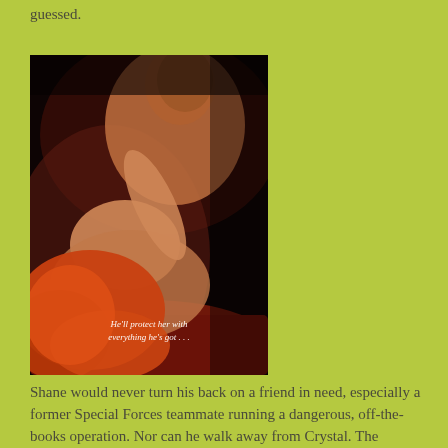guessed.
[Figure (photo): Book cover showing a romantic couple — a shirtless man leaning over a woman with long red hair lying on a red surface. White italic text overlay reads: He'll protect her with everything he's got . . .]
Shane would never turn his back on a friend in need, especially a former Special Forces teammate running a dangerous, off-the-books operation. Nor can he walk away from Crystal. The